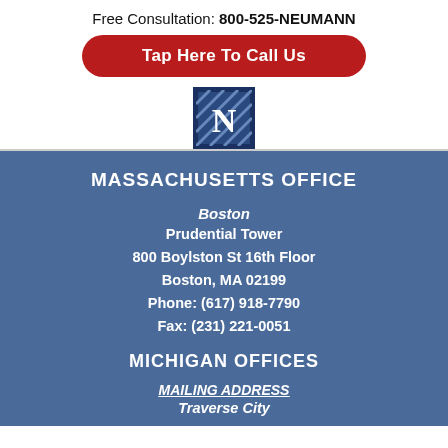Free Consultation: 800-525-NEUMANN
Tap Here To Call Us
[Figure (logo): Neumann law firm logo — navy blue square with white letter N]
MASSACHUSETTS OFFICE
Boston
Prudential Tower
800 Boylston St 16th Floor
Boston, MA 02199
Phone: (617) 918-7790
Fax: (231) 221-0051
MICHIGAN OFFICES
MAILING ADDRESS
Traverse City